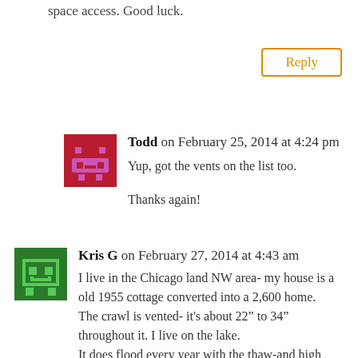space access. Good luck.
[Figure (other): Reply button with orange border]
[Figure (illustration): Red pixel-art avatar icon for user Todd]
Todd on February 25, 2014 at 4:24 pm
Yup, got the vents on the list too.

Thanks again!
[Figure (illustration): Green pixel-art avatar icon for user Kris G]
Kris G on February 27, 2014 at 4:43 am
I live in the Chicago land NW area- my house is a old 1955 cottage converted into a 2,600 home.
The crawl is vented- it’s about 22” to 34” throughout it. I live on the lake.
It does flood every year with the thaw-and high waters from WI coming down to us “Chain of